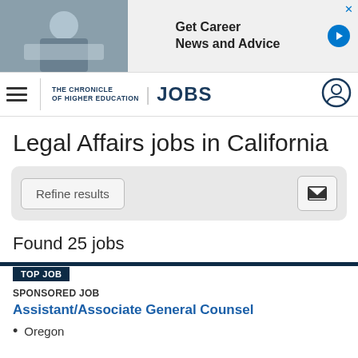[Figure (screenshot): Advertisement banner: photo of woman at laptop, text 'Get Career News and Advice' with blue arrow button]
THE CHRONICLE OF HIGHER EDUCATION | JOBS
Legal Affairs jobs in California
Refine results
Found 25 jobs
TOP JOB
SPONSORED JOB
Assistant/Associate General Counsel
Oregon